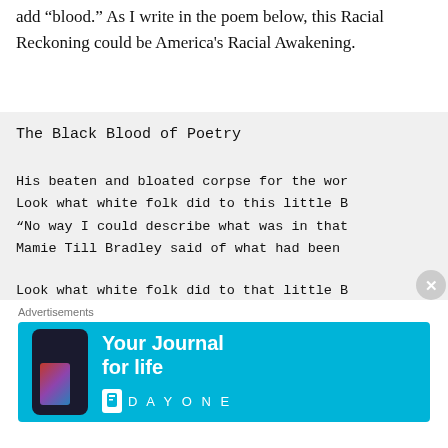add “blood.” As I write in the poem below, this Racial Reckoning could be America's Racial Awakening.
The Black Blood of Poetry

His beaten and bloated corpse for the wor
Look what white folk did to this little B
“No way I could describe what was in that
Mamie Till Bradley said of what had been

Look what white folk did to that little B
This “‘Chicago boy,’ stirring up trouble”
Advertisements
[Figure (infographic): Day One app advertisement banner with blue background showing a phone and the text 'Your Journal for life' with the Day One logo]